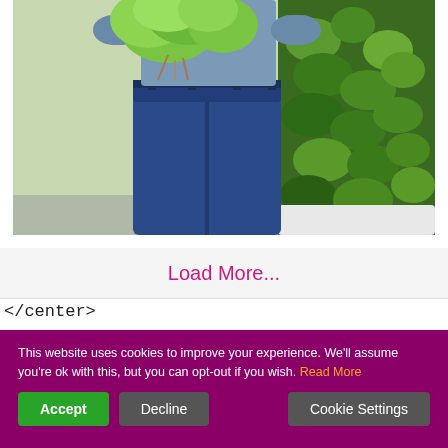[Figure (photo): Person holding lettuce heads in front of a lush vertical plant/herb wall garden, wearing blue jeans and a denim shirt. Only the torso and lower body are visible.]
Load More...
</center>
This website uses cookies to improve your experience. We'll assume you're ok with this, but you can opt-out if you wish. Read More
Accept
Decline
Cookie Settings